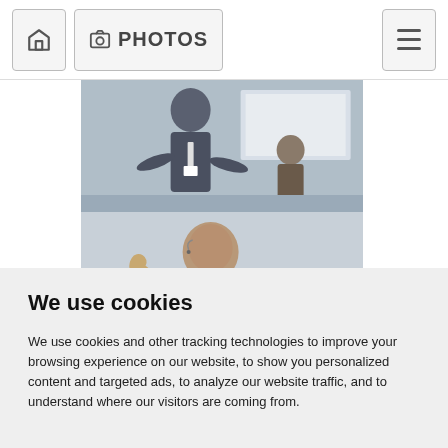PHOTOS
[Figure (photo): Conference speaker presenting at a podium with a projection screen in the background, another person visible in the foreground]
[Figure (photo): Man in a tan suit jacket speaking at a conference, gesturing with his hand, microphone headset visible]
We use cookies
We use cookies and other tracking technologies to improve your browsing experience on our website, to show you personalized content and targeted ads, to analyze our website traffic, and to understand where our visitors are coming from.